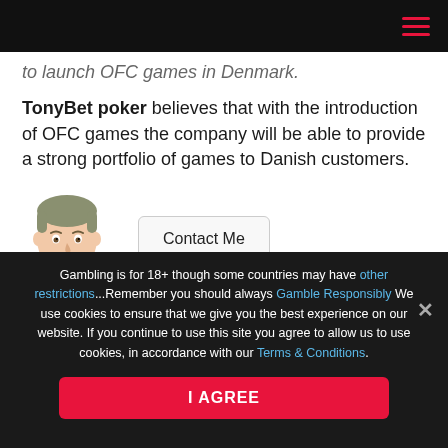to launch OFC games in Denmark.
TonyBet poker believes that with the introduction of OFC games the company will be able to provide a strong portfolio of games to Danish customers.
[Figure (illustration): Cartoon avatar of a man with grey/brown hair, used as an author avatar image]
Contact Me
Gambling is for 18+ though some countries may have other restrictions...Remember you should always Gamble Responsibly We use cookies to ensure that we give you the best experience on our website. If you continue to use this site you agree to allow us to use cookies, in accordance with our Terms & Conditions.
I AGREE